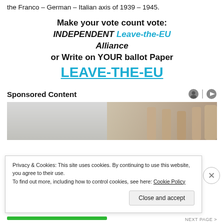the Franco – German – Italian axis of 1939 – 1945.
Make your vote count vote: INDEPENDENT Leave-the-EU Alliance or Write on YOUR ballot Paper LEAVE-THE-EU
Sponsored Content
[Figure (photo): Partial view of a government building dome with columns, beige/grey tones]
Privacy & Cookies: This site uses cookies. By continuing to use this website, you agree to their use.
To find out more, including how to control cookies, see here: Cookie Policy